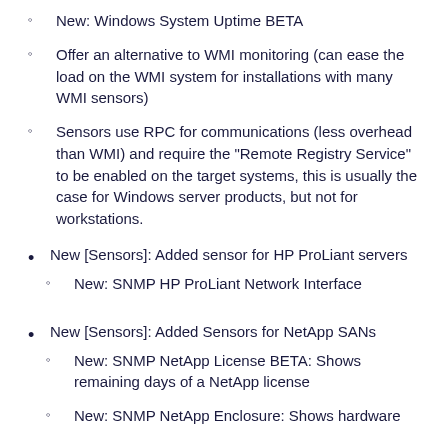New: Windows System Uptime BETA
Offer an alternative to WMI monitoring (can ease the load on the WMI system for installations with many WMI sensors)
Sensors use RPC for communications (less overhead than WMI) and require the "Remote Registry Service" to be enabled on the target systems, this is usually the case for Windows server products, but not for workstations.
New [Sensors]: Added sensor for HP ProLiant servers
New: SNMP HP ProLiant Network Interface
New [Sensors]: Added Sensors for NetApp SANs
New: SNMP NetApp License BETA: Shows remaining days of a NetApp license
New: SNMP NetApp Enclosure: Shows hardware